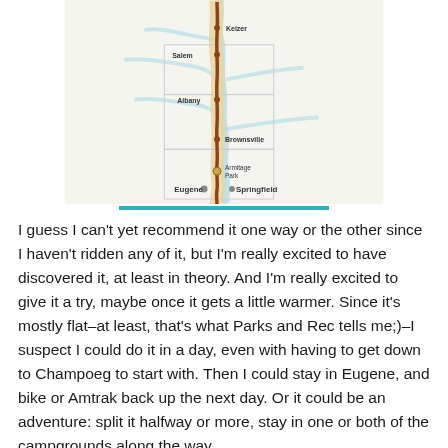[Figure (map): A route map showing a cycling or trail route through Oregon, passing through cities including Keizer, Salem, Albany, Brownsville, and ending at Eugene/Springfield, with Armitage Park marked near the end. A brown route line runs north-south with light blue rivers and tan/beige route highlights.]
I guess I can't yet recommend it one way or the other since I haven't ridden any of it, but I'm really excited to have discovered it, at least in theory. And I'm really excited to give it a try, maybe once it gets a little warmer. Since it's mostly flat–at least, that's what Parks and Rec tells me;)–I suspect I could do it in a day, even with having to get down to Champoeg to start with. Then I could stay in Eugene, and bike or Amtrak back up the next day. Or it could be an adventure: split it halfway or more, stay in one or both of the campgrounds along the way.